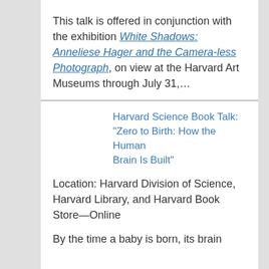This talk is offered in conjunction with the exhibition White Shadows: Anneliese Hager and the Camera-less Photograph, on view at the Harvard Art Museums through July 31,…
Harvard Science Book Talk: "Zero to Birth: How the Human Brain Is Built"
Location: Harvard Division of Science, Harvard Library, and Harvard Book Store—Online
By the time a baby is born, its brain